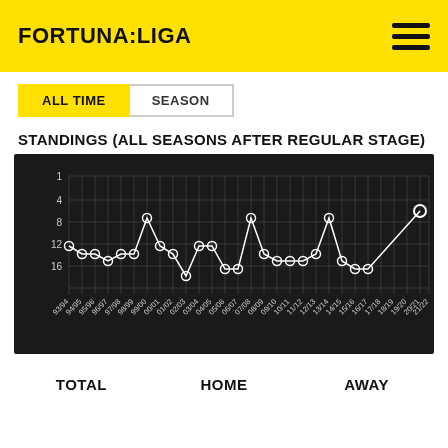FORTUNA:LIGA
ALL TIME | SEASON
STANDINGS (ALL SEASONS AFTER REGULAR STAGE)
[Figure (line-chart): Standings (All Seasons After Regular Stage)]
TOTAL   HOME   AWAY